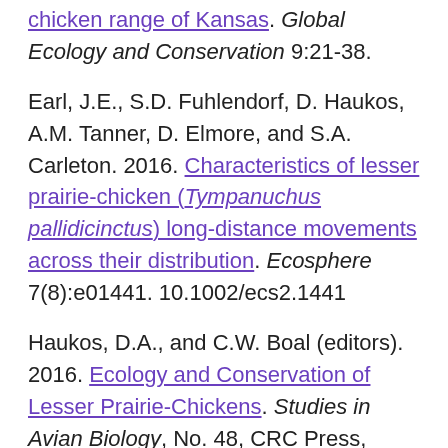chicken range of Kansas. Global Ecology and Conservation 9:21-38.
Earl, J.E., S.D. Fuhlendorf, D. Haukos, A.M. Tanner, D. Elmore, and S.A. Carleton. 2016. Characteristics of lesser prairie-chicken (Tympanuchus pallidicinctus) long-distance movements across their distribution. Ecosphere 7(8):e01441. 10.1002/ecs2.1441
Haukos, D.A., and C.W. Boal (editors). 2016. Ecology and Conservation of Lesser Prairie-Chickens. Studies in Avian Biology, No. 48, CRC Press, Boca Raton, FL. 371 pp.
Haukos, D.A., L.A. Johnson, L.M. Smith, and S.T.